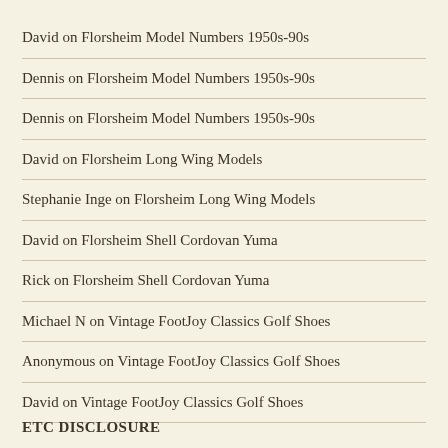David on Florsheim Model Numbers 1950s-90s
Dennis on Florsheim Model Numbers 1950s-90s
Dennis on Florsheim Model Numbers 1950s-90s
David on Florsheim Long Wing Models
Stephanie Inge on Florsheim Long Wing Models
David on Florsheim Shell Cordovan Yuma
Rick on Florsheim Shell Cordovan Yuma
Michael N on Vintage FootJoy Classics Golf Shoes
Anonymous on Vintage FootJoy Classics Golf Shoes
David on Vintage FootJoy Classics Golf Shoes
ETC DISCLOSURE